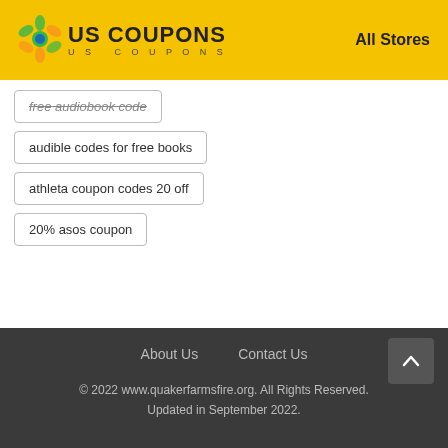US COUPONS | US COUPONS | All Stores
free audiobook code
audible codes for free books
athleta coupon codes 20 off
20% asos coupon
About Us   Contact Us   © 2022 www.quakerfarmsfire.org. All Rights Reserved. Updated in September 2022.